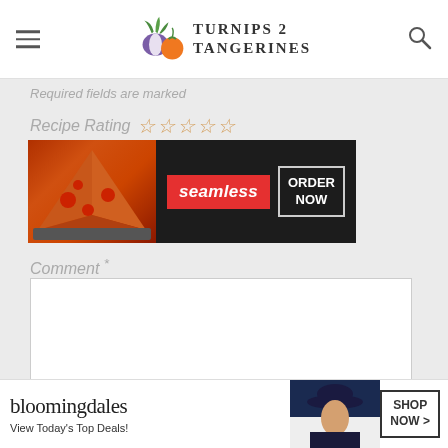[Figure (logo): Turnips 2 Tangerines website logo with vegetable icons]
Required fields are marked
Recipe Rating ☆☆☆☆☆
[Figure (other): Seamless food delivery advertisement with pizza image, seamless brand and ORDER NOW button]
Comment *
Name *
[Figure (other): Bloomingdales advertisement - View Today's Top Deals! SHOP NOW >]